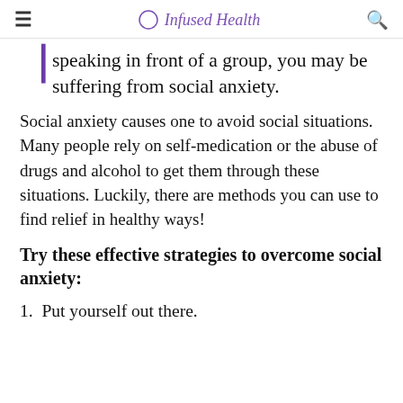≡  Infused Health  🔍
speaking in front of a group, you may be suffering from social anxiety.
Social anxiety causes one to avoid social situations. Many people rely on self-medication or the abuse of drugs and alcohol to get them through these situations. Luckily, there are methods you can use to find relief in healthy ways!
Try these effective strategies to overcome social anxiety:
1.  Put yourself out there.